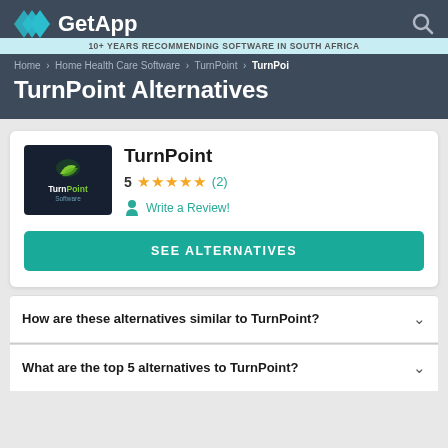GetApp
10+ YEARS RECOMMENDING SOFTWARE IN SOUTH AFRICA
Home › Home Health Care Software › TurnPoint › TurnPoi
TurnPoint Alternatives
TurnPoint
5 ★★★★★ (2)
Write a Review!
SEE ALTERNATIVES
How are these alternatives similar to TurnPoint?
What are the top 5 alternatives to TurnPoint?